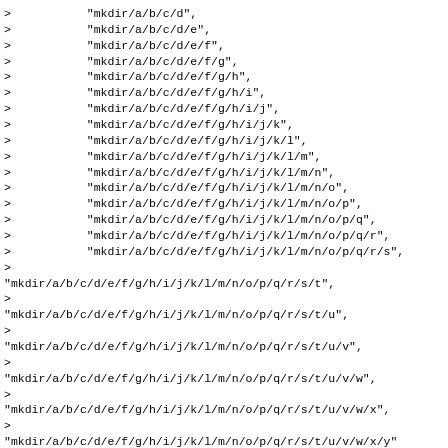>           "mkdir/a/b/c/d",
>           "mkdir/a/b/c/d/e",
>           "mkdir/a/b/c/d/e/f",
>           "mkdir/a/b/c/d/e/f/g",
>           "mkdir/a/b/c/d/e/f/g/h",
>           "mkdir/a/b/c/d/e/f/g/h/i",
>           "mkdir/a/b/c/d/e/f/g/h/i/j",
>           "mkdir/a/b/c/d/e/f/g/h/i/j/k",
>           "mkdir/a/b/c/d/e/f/g/h/i/j/k/l",
>           "mkdir/a/b/c/d/e/f/g/h/i/j/k/l/m",
>           "mkdir/a/b/c/d/e/f/g/h/i/j/k/l/m/n",
>           "mkdir/a/b/c/d/e/f/g/h/i/j/k/l/m/n/o",
>           "mkdir/a/b/c/d/e/f/g/h/i/j/k/l/m/n/o/p",
>           "mkdir/a/b/c/d/e/f/g/h/i/j/k/l/m/n/o/p/q",
>           "mkdir/a/b/c/d/e/f/g/h/i/j/k/l/m/n/o/p/q/r",
>           "mkdir/a/b/c/d/e/f/g/h/i/j/k/l/m/n/o/p/q/r/s",
>
"mkdir/a/b/c/d/e/f/g/h/i/j/k/l/m/n/o/p/q/r/s/t",
>
"mkdir/a/b/c/d/e/f/g/h/i/j/k/l/m/n/o/p/q/r/s/t/u",
>
"mkdir/a/b/c/d/e/f/g/h/i/j/k/l/m/n/o/p/q/r/s/t/u/v",
>
"mkdir/a/b/c/d/e/f/g/h/i/j/k/l/m/n/o/p/q/r/s/t/u/v/w",
>
"mkdir/a/b/c/d/e/f/g/h/i/j/k/l/m/n/o/p/q/r/s/t/u/v/w/x",
>
"mkdir/a/b/c/d/e/f/g/h/i/j/k/l/m/n/o/p/q/r/s/t/u/v/w/x/y"
>
"mkdir/a/b/c/d/e/f/g/h/i/j/k/l/m/n/o/p/q/r/s/t/u/v/w/x/y